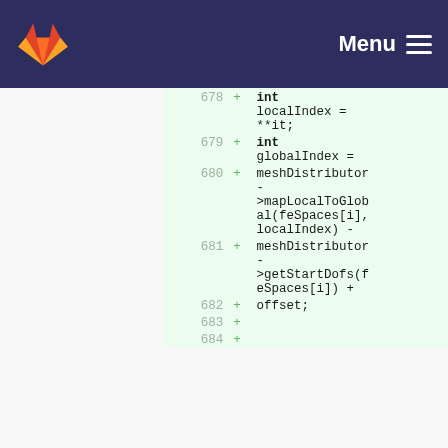GitLab navigation bar with logo and Menu button
[Figure (screenshot): GitLab diff view showing added code lines 678-684 with green highlighting. Code shows int localIndex = **it; int globalIndex = meshDistributor->mapLocalToGlobal(feSpaces[i], localIndex) - meshDistributor->getStartDofs(feSpaces[i]) + offset;]
678 + int localIndex = **it;
679 + int globalIndex =
680 + meshDistributor->mapLocalToGlobal(feSpaces[i], localIndex) -
681 + meshDistributor->getStartDofs(feSpaces[i]) +
682 + offset;
683 +
684 +